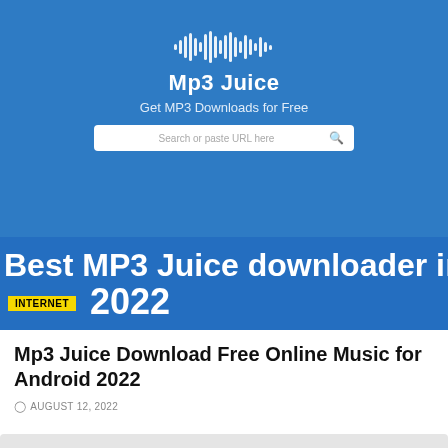[Figure (screenshot): Screenshot of Mp3 Juice website showing logo with waveform, tagline 'Get MP3 Downloads for Free', a search bar, and large overlaid text 'Best MP3 Juice downloader in 2022' with an INTERNET badge on a blue background.]
Mp3 Juice Download Free Online Music for Android 2022
AUGUST 12, 2022